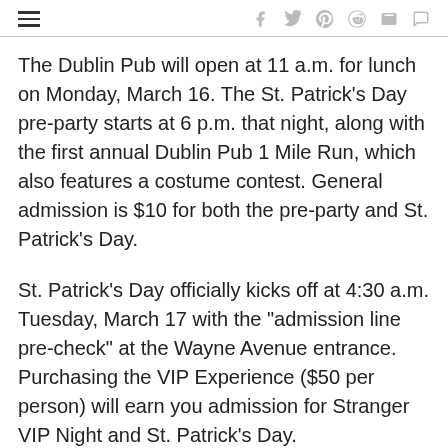The Dublin Pub will open at 11 a.m. for lunch on Monday, March 16. The St. Patrick’s Day pre-party starts at 6 p.m. that night, along with the first annual Dublin Pub 1 Mile Run, which also features a costume contest. General admission is $10 for both the pre-party and St. Patrick’s Day.
St. Patrick’s Day officially kicks off at 4:30 a.m. Tuesday, March 17 with the “admission line pre-check” at the Wayne Avenue entrance. Purchasing the VIP Experience ($50 per person) will earn you admission for Stranger VIP Night and St. Patrick’s Day.
Get a jump start on the party with a Saturday night